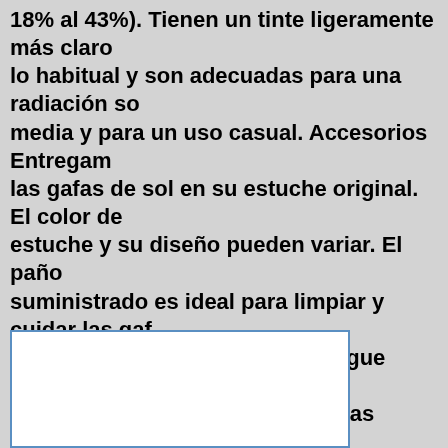18% al 43%). Tienen un tinte ligeramente más claro de lo habitual y son adecuadas para una radiación solar media y para un uso casual. Accesorios Entregamos las gafas de sol en su estuche original. El color del estuche y su diseño pueden variar. El paño suministrado es ideal para limpiar y cuidar las gafas de sol. Para más información, sigue nuestro blog donde te mantenemos al día de las últimas tecnologías y tendencias.
**** PRICE: EUR 107.90
Manufacturer : 18372
SKU: 6204
UPC:
Tags: EUROPE, European market, Euro (€), EURO...
↑ Inicio de página
[Figure (other): White rectangle with blue border, partially visible at bottom of page]